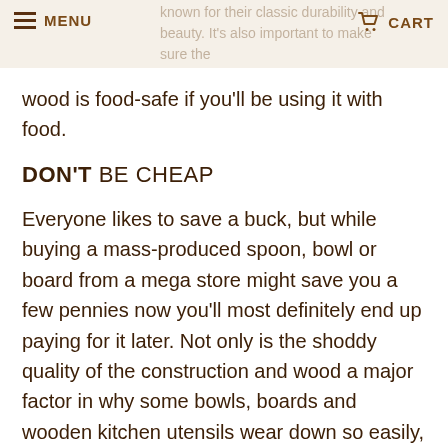MENU   CART
wood is food-safe if you'll be using it with food.
DON'T BE CHEAP
Everyone likes to save a buck, but while buying a mass-produced spoon, bowl or board from a mega store might save you a few pennies now you'll most definitely end up paying for it later. Not only is the shoddy quality of the construction and wood a major factor in why some bowls, boards and wooden kitchen utensils wear down so easily, many of these pieces have been put together using non-food safe glues and